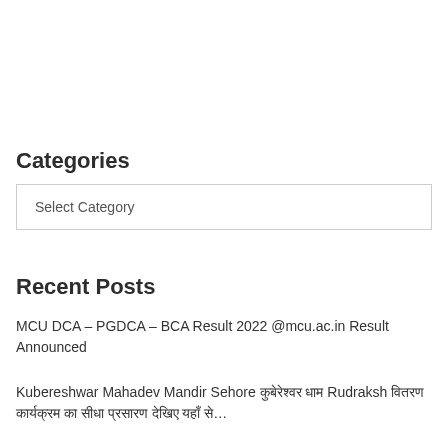Categories
Select Category
Recent Posts
MCU DCA – PGDCA – BCA Result 2022 @mcu.ac.in Result Announced
Kubereshwar Mahadev Mandir Sehore कुबेरेश्वर धाम Rudraksh वितरण कार्यक्रम का सीधा प्रसारण देखिए यहाँ से